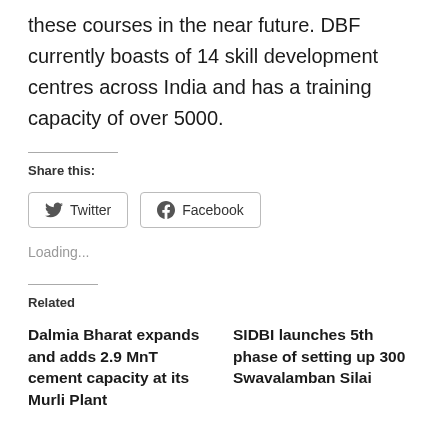these courses in the near future. DBF currently boasts of 14 skill development centres across India and has a training capacity of over 5000.
Share this:
Twitter
Facebook
Loading...
Related
Dalmia Bharat expands and adds 2.9 MnT cement capacity at its Murli Plant in Maharashtara at a cost...
SIDBI launches 5th phase of setting up 300 Swavalamban Silai Schools across remote...